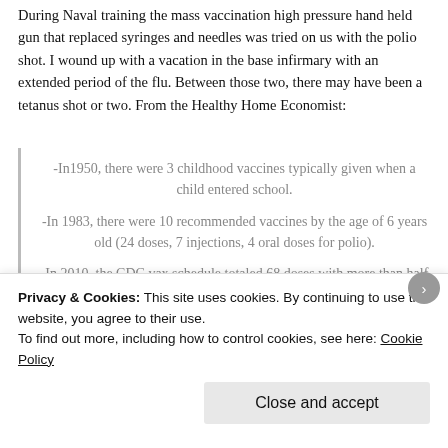During Naval training the mass vaccination high pressure hand held gun that replaced syringes and needles was tried on us with the polio shot. I wound up with a vacation in the base infirmary with an extended period of the flu. Between those two, there may have been a tetanus shot or two. From the Healthy Home Economist:
-In1950, there were 3 childhood vaccines typically given when a child entered school. -In 1983, there were 10 recommended vaccines by the age of 6 years old (24 doses, 7 injections, 4 oral doses for polio). -In 2010, the CDC vax schedule totaled 68 doses with more than half given by the time a child was only a year and a half old. -In 2016, the schedule has increased to 74 doses by age 17 with 53 injections and 3 oral doses of rotavirus.
Privacy & Cookies: This site uses cookies. By continuing to use this website, you agree to their use. To find out more, including how to control cookies, see here: Cookie Policy
Close and accept